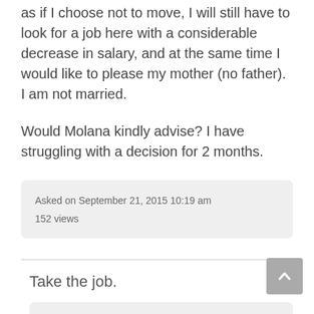as if I choose not to move, I will still have to look for a job here with a considerable decrease in salary, and at the same time I would like to please my mother (no father). I am not married.
Would Molana kindly advise? I have struggling with a decision for 2 months.
Asked on September 21, 2015 10:19 am
152 views
Take the job.
Answered on October 1, 2015 6:12 pm